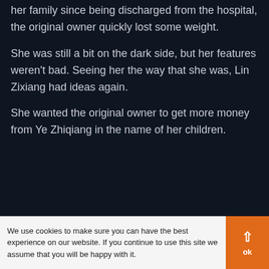her family since being discharged from the hospital, the original owner quickly lost some weight.
She was still a bit on the dark side, but her features weren't bad. Seeing her the way that she was, Lin Zixiang had ideas again.
She wanted the original owner to get more money from Ye Zhiqiang in the name of her children.
We use cookies to make sure you can have the best experience on our website. If you continue to use this site we assume that you will be happy with it.